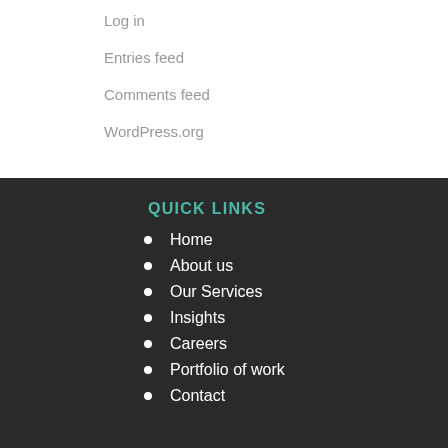Log in
Entries feed
Comments feed
WordPress.org
QUICK LINKS
Home
About us
Our Services
Insights
Careers
Portfolio of work
Contact